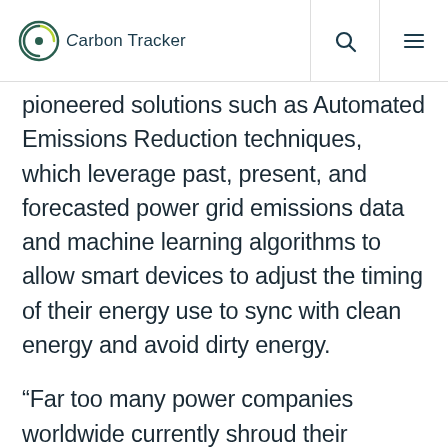Carbon Tracker
pioneered solutions such as Automated Emissions Reduction techniques, which leverage past, present, and forecasted power grid emissions data and machine learning algorithms to allow smart devices to adjust the timing of their energy use to sync with clean energy and avoid dirty energy.
“Far too many power companies worldwide currently shroud their pollution in secrecy. But through the growing power of AI,